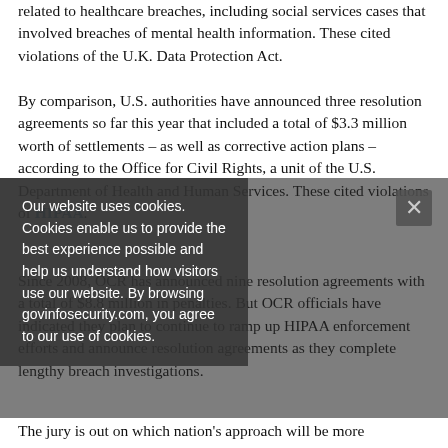related to healthcare breaches, including social services cases that involved breaches of mental health information. These cited violations of the U.K. Data Protection Act.
By comparison, U.S. authorities have announced three resolution agreements so far this year that included a total of $3.3 million worth of settlements – as well as corrective action plans – according to the Office for Civil Rights, a unit of the U.S. Department of Health and Human Services. These cited violations of HIPAA.
Since 2008, OCR has announced nine resolution agreements with a total of $8.8 million in penalties. But OCR officials have indicated they plan to continue to ramp up HIPAA enforcement efforts and announce resolution agreements as they complete lengthy breach investigations.
The jury is out on which nation's approach will be more
Our website uses cookies. Cookies enable us to provide the best experience possible and help us understand how visitors use our website. By browsing govinfosecurity.com, you agree to our use of cookies.